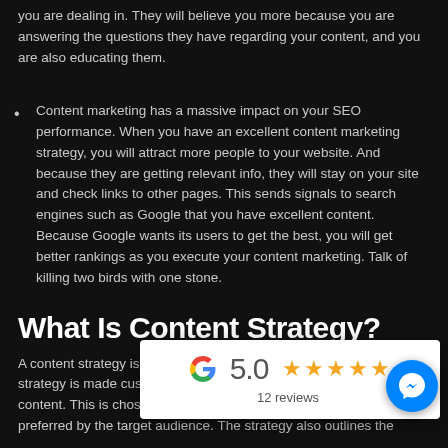you are dealing in. They will believe you more because you are answering the questions they have regarding your content, and you are also educating them.
Content marketing has a massive impact on your SEO performance. When you have an excellent content marketing strategy, you will attract more people to your website. And because they are getting relevant info, they will stay on your site and check links to other pages. This sends signals to search engines such as Google that you have excellent content. Because Google wants its users to get the best, you will get better rankings as you execute your content marketing. Talk of killing two birds with one stone.
What Is Content Strategy?
A content strategy is a plan regarding the delivery of content. The strategy is made custom to the audience and mode of delivery of content. This is chosen by considering the platforms that are preferred by the target audience. The strategy also outlines the
[Figure (infographic): Google rating widget showing 5.0 stars and 12 reviews with Google G logo on white card overlay]
[Figure (infographic): Facebook Messenger blue circular button icon overlay on bottom right]